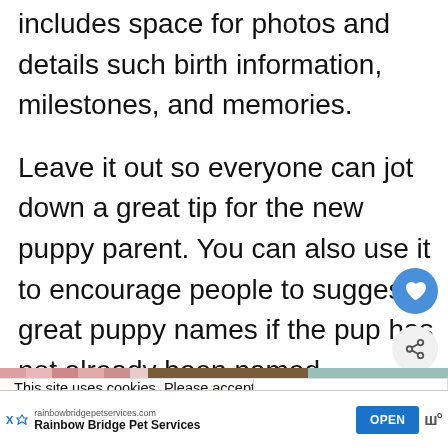includes space for photos and details such birth information, milestones, and memories.
Leave it out so everyone can jot down a great tip for the new puppy parent. You can also use it to encourage people to suggest great puppy names if the pup has not already been named.
[Figure (screenshot): Image strip showing puppy baby book product images: pink patterned section, brown book cover with 'Puppy Baby Book' text, and teal colored section]
This site uses cookies. Please accept their use before continuing. Privacy Statement
[Figure (photo): What's Next thumbnail showing a Shih Tzu dog photo with text 'Shih Tzu Dads: Miracl...']
[Figure (screenshot): Advertisement for Rainbow Bridge Pet Services from rainbowbridgepetservices.com with OPEN button]